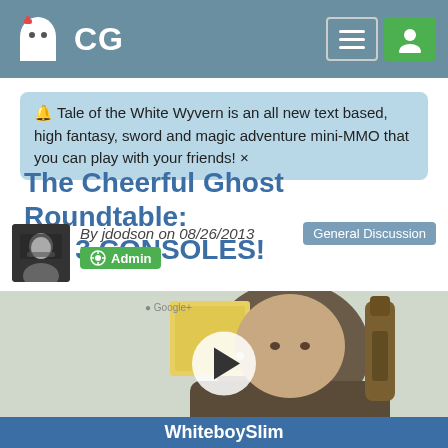CG
🔔 Tale of the White Wyvern is an all new text based, high fantasy, sword and magic adventure mini-MMO that you can play with your friends! ×
The Cheerful Ghost Roundtable: Ep. 3 CONSOLES!
By jdodson on 08/26/2013
Admin
General Discussion
[Figure (screenshot): Video thumbnail showing a man holding a beer bottle, with a play button overlay. Bottom bar reads WhiteboySlim.]